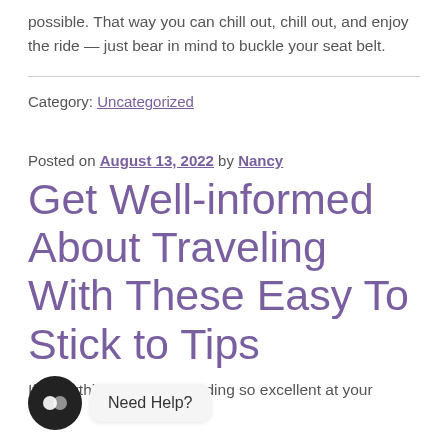possible. That way you can chill out, chill out, and enjoy the ride — just bear in mind to buckle your seat belt.
Category: Uncategorized
Posted on August 13, 2022 by Nancy
Get Well-informed About Traveling With These Easy To Stick to Tips
If everything is not proceeding so excellent at your